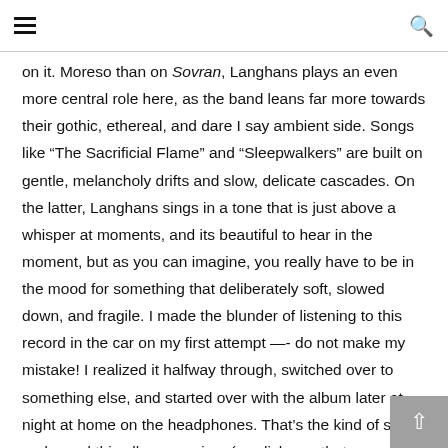[hamburger menu icon] [search icon]
on it. Moreso than on Sovran, Langhans plays an even more central role here, as the band leans far more towards their gothic, ethereal, and dare I say ambient side. Songs like “The Sacrificial Flame” and “Sleepwalkers” are built on gentle, melancholy drifts and slow, delicate cascades. On the latter, Langhans sings in a tone that is just above a whisper at moments, and its beautiful to hear in the moment, but as you can imagine, you really have to be in the mood for something that deliberately soft, slowed down, and fragile. I made the blunder of listening to this record in the car on my first attempt —- do not make my mistake! I realized it halfway through, switched over to something else, and started over with the album later at night at home on the headphones. That’s the kind of space and mood this album requires (as cliche as that